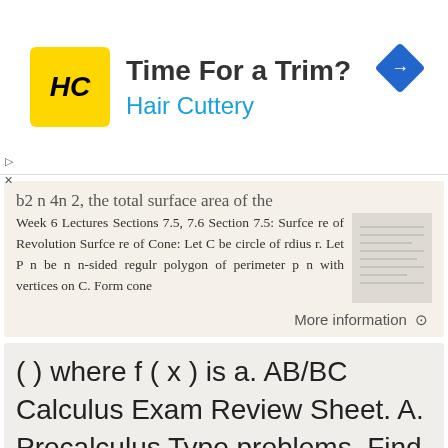[Figure (other): Advertisement banner for Hair Cuttery with logo and navigation icon]
b2 n 4n 2, the total surface area of the
Week 6 Lectures Sections 7.5, 7.6 Section 7.5: Surfce re of Revolution Surfce re of Cone: Let C be circle of rdius r. Let P n be n n-sided regulr polygon of perimeter p n with vertices on C. Form cone
More information →
( ) where f ( x ) is a. AB/BC Calculus Exam Review Sheet. A. Precalculus Type problems. Find the zeros of f ( x).
AB/ Clculus Exm Review Sheet A. Preclculus Type prolems A1 Find the zeros of f ( x). This is wht you think of doing A2 Find the intersection of f ( x) nd g( x). A3 Show tht f (